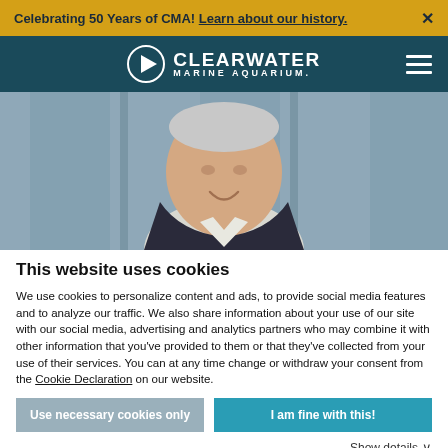Celebrating 50 Years of CMA! Learn about our history.
[Figure (logo): Clearwater Marine Aquarium logo with circular icon and navigation bar on teal background]
[Figure (photo): Portrait photo of an older man in a dark blazer and white shirt, smiling, with blurred background]
This website uses cookies
We use cookies to personalize content and ads, to provide social media features and to analyze our traffic. We also share information about your use of our site with our social media, advertising and analytics partners who may combine it with other information that you've provided to them or that they've collected from your use of their services. You can at any time change or withdraw your consent from the Cookie Declaration on our website.
Use necessary cookies only | I am fine with this!
Show details